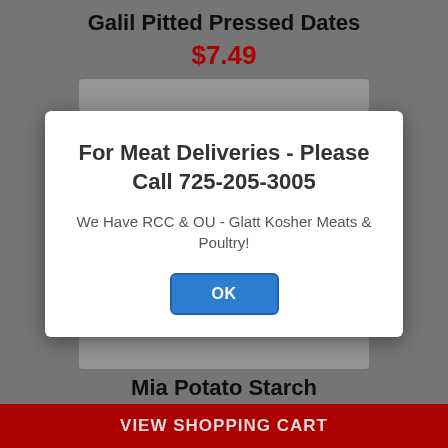Galil Pitted Pressed Dates
$7.49
[Figure (photo): Product image of Galil Pitted Pressed Dates packaging in white/blue plastic wrap]
Mia Potato Starch
$3.99
For Meat Deliveries - Please Call 725-205-3005
We Have RCC & OU - Glatt Kosher Meats & Poultry!
OK
VIEW SHOPPING CART